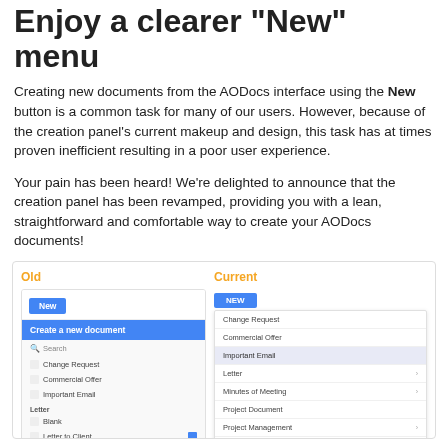Enjoy a clearer "New" menu
Creating new documents from the AODocs interface using the New button is a common task for many of our users. However, because of the creation panel's current makeup and design, this task has at times proven inefficient resulting in a poor user experience.
Your pain has been heard! We're delighted to announce that the creation panel has been revamped, providing you with a lean, straightforward and comfortable way to create your AODocs documents!
[Figure (screenshot): Side-by-side comparison of Old vs Current AODocs New document creation panel. Old panel shows a blue New button, a 'Create a new document' panel with search, and a list of document types. Current panel shows a blue NEW button with a dropdown menu listing document types including Change Request, Commercial Offer, Important Email (highlighted), Letter, Minutes of Meeting, Project Document, Project Management, and Sales.]